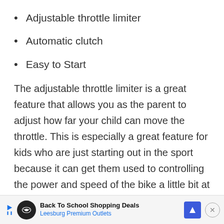Adjustable throttle limiter
Automatic clutch
Easy to Start
The adjustable throttle limiter is a great feature that allows you as the parent to adjust how far your child can move the throttle. This is especially a great feature for kids who are just starting out in the sport because it can get them used to controlling the power and speed of the bike a little bit at a time.
There's no clutch on this bike, which also helps your kid focus on the throttle and braking without too much…
Back To School Shopping Deals — Leesburg Premium Outlets (advertisement)